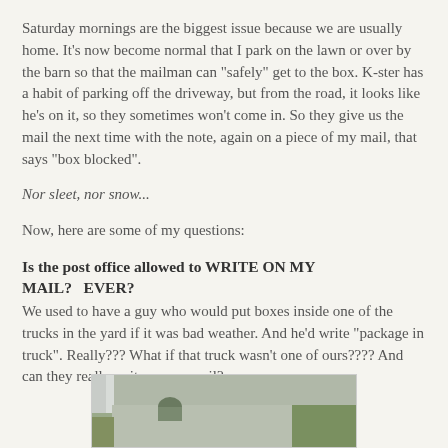Saturday mornings are the biggest issue because we are usually home.  It's now become normal that I park on the lawn or over by the barn so that the mailman can "safely" get to the box.  K-ster has a habit of parking off the driveway, but from the road, it looks like he's on it, so they sometimes won't come in.  So they give us the mail the next time with the note, again on a piece of my mail, that says "box blocked".
Nor sleet, nor snow...
Now, here are some of my questions:
Is the post office allowed to WRITE ON MY MAIL?   EVER?
We used to have a guy who would put boxes inside one of the trucks in the yard if it was bad weather.  And he'd write "package in truck".  Really???  What if that truck wasn't one of ours???? And can they really write on my mail?
[Figure (photo): Photo of a driveway area with grass and concrete, partially visible]